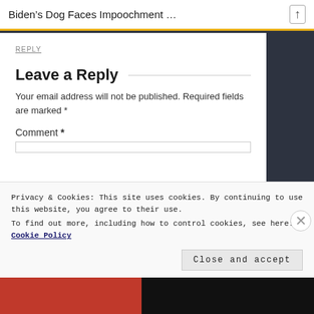Biden’s Dog Faces Impoochment …
REPLY
Leave a Reply
Your email address will not be published. Required fields are marked *
Comment *
Privacy & Cookies: This site uses cookies. By continuing to use this website, you agree to their use.
To find out more, including how to control cookies, see here: Cookie Policy
Close and accept